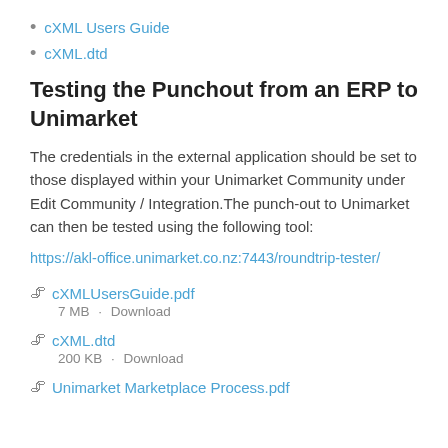cXML Users Guide
cXML.dtd
Testing the Punchout from an ERP to Unimarket
The credentials in the external application should be set to those displayed within your Unimarket Community under Edit Community / Integration.The punch-out to Unimarket can then be tested using the following tool:
https://akl-office.unimarket.co.nz:7443/roundtrip-tester/
cXMLUsersGuide.pdf
7 MB · Download
cXML.dtd
200 KB · Download
Unimarket Marketplace Process.pdf